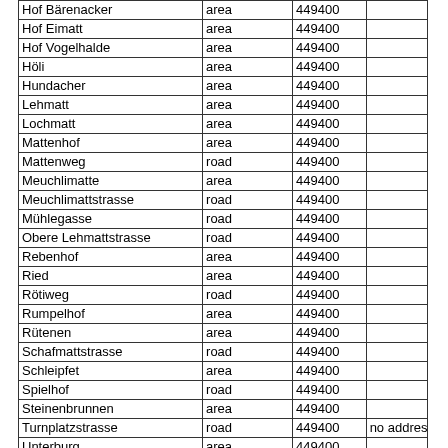| Hof Bärenacker | area | 449400 |  |
| Hof Eimatt | area | 449400 |  |
| Hof Vogelhalde | area | 449400 |  |
| Höli | area | 449400 |  |
| Hundacher | area | 449400 |  |
| Lehmatt | area | 449400 |  |
| Lochmatt | area | 449400 |  |
| Mattenhof | area | 449400 |  |
| Mattenweg | road | 449400 |  |
| Meuchlimatte | area | 449400 |  |
| Meuchlimattstrasse | road | 449400 |  |
| Mühlegasse | road | 449400 |  |
| Obere Lehmattstrasse | road | 449400 |  |
| Rebenhof | area | 449400 |  |
| Ried | area | 449400 |  |
| Rötiweg | road | 449400 |  |
| Rumpelhof | area | 449400 |  |
| Rütenen | area | 449400 |  |
| Schafmattstrasse | road | 449400 |  |
| Schleipfet | area | 449400 |  |
| Spielhof | road | 449400 |  |
| Steinenbrunnen | area | 449400 |  |
| Turnplatzstrasse | road | 449400 | no addresses |
| Unterburg | area | 449400 |  |
| Untere Lehmattstrasse | road | 449400 |  |
| Unter Endleten | area | 449400 |  |